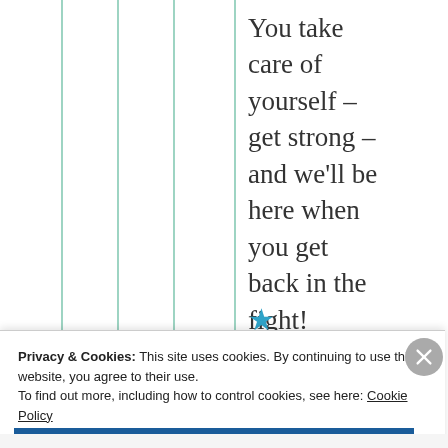You take care of yourself – get strong – and we'll be here when you get back in the fight!
★
Privacy & Cookies: This site uses cookies. By continuing to use this website, you agree to their use.
To find out more, including how to control cookies, see here: Cookie Policy
Close and accept